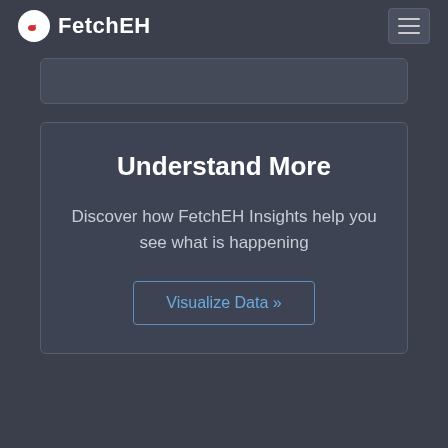FetchEH
[Figure (other): Partially visible card or content area at the top]
Understand More
Discover how FetchEH Insights help you see what is happening
Visualize Data »